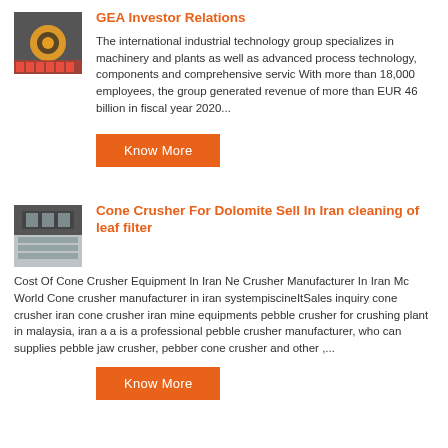GEA Investor Relations
The international industrial technology group specializes in machinery and plants as well as advanced process technology, components and comprehensive servic With more than 18,000 employees, the group generated revenue of more than EUR 46 billion in fiscal year 2020...
Know More
Cone Crusher For Dolomite Sell In Iran cleaning of leaf filter
Cost Of Cone Crusher Equipment In Iran Ne Crusher Manufacturer In Iran Mc World Cone crusher manufacturer in iran systempiscineItSales inquiry cone crusher iran cone crusher iran mine equipments pebble crusher for crushing plant in malaysia, iran a a is a professional pebble crusher manufacturer, who can supplies pebble jaw crusher, pebber cone crusher and other ,...
Know More